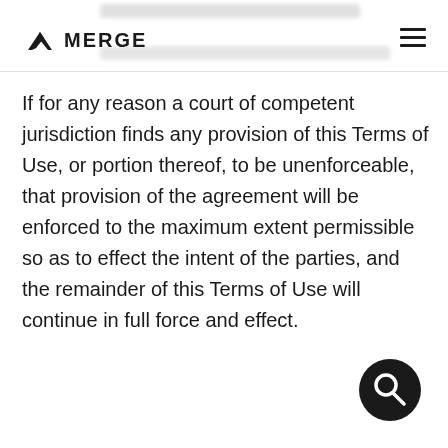MERGE
If for any reason a court of competent jurisdiction finds any provision of this Terms of Use, or portion thereof, to be unenforceable, that provision of the agreement will be enforced to the maximum extent permissible so as to effect the intent of the parties, and the remainder of this Terms of Use will continue in full force and effect.